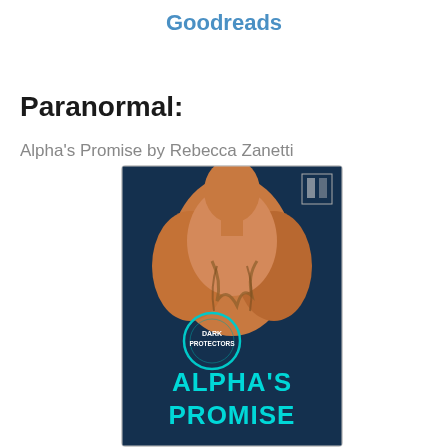Goodreads
Paranormal:
Alpha's Promise by Rebecca Zanetti
[Figure (photo): Book cover of Alpha's Promise by Rebecca Zanetti (Dark Protectors series). Shows a muscular man's back with a tattoo, teal/blue background, with 'Dark Protectors' logo and 'Alpha's Promise' title text in teal letters.]